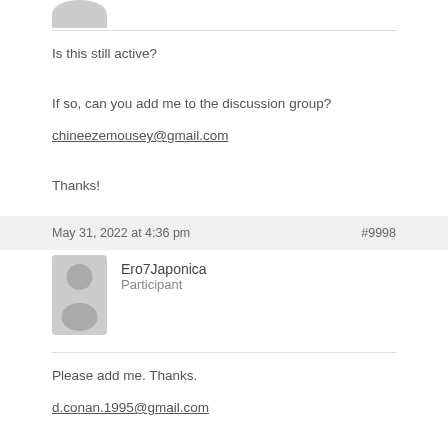[Figure (illustration): User avatar circle at top]
Is this still active?
If so, can you add me to the discussion group?
chineezemousey@gmail.com
Thanks!
May 31, 2022 at 4:36 pm
#9998
[Figure (illustration): User avatar for Ero7Japonica]
Ero7Japonica
Participant
Please add me. Thanks.
d.conan.1995@gmail.com